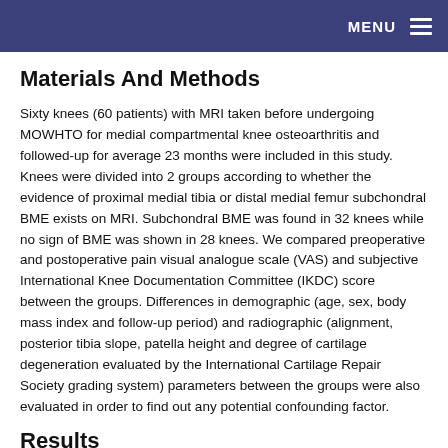MENU
Materials And Methods
Sixty knees (60 patients) with MRI taken before undergoing MOWHTO for medial compartmental knee osteoarthritis and followed-up for average 23 months were included in this study. Knees were divided into 2 groups according to whether the evidence of proximal medial tibia or distal medial femur subchondral BME exists on MRI. Subchondral BME was found in 32 knees while no sign of BME was shown in 28 knees. We compared preoperative and postoperative pain visual analogue scale (VAS) and subjective International Knee Documentation Committee (IKDC) score between the groups. Differences in demographic (age, sex, body mass index and follow-up period) and radiographic (alignment, posterior tibia slope, patella height and degree of cartilage degeneration evaluated by the International Cartilage Repair Society grading system) parameters between the groups were also evaluated in order to find out any potential confounding factor.
Results
Neither demographic nor preoperative and postoperative radiographic factors showed any inter-group differences. Preoperative pain VAS was